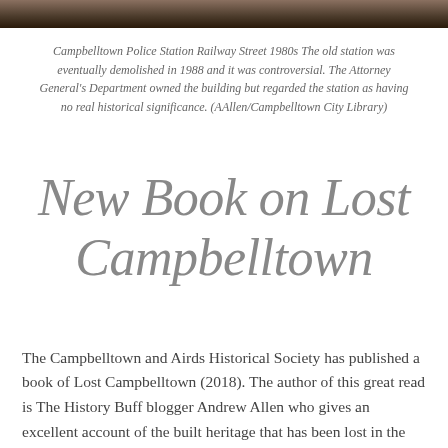[Figure (photo): Top strip of a photograph showing the Campbelltown Police Station on Railway Street, 1980s — a partial view of a building/street scene in sepia tones.]
Campbelltown Police Station Railway Street 1980s The old station was eventually demolished in 1988 and it was controversial. The Attorney General's Department owned the building but regarded the station as having no real historical significance. (AAllen/Campbelltown City Library)
New Book on Lost Campbelltown
The Campbelltown and Airds Historical Society has published a book of Lost Campbelltown (2018). The author of this great read is The History Buff blogger Andrew Allen who gives an excellent account of the built heritage that has been lost in the Campbelltown area. The book is 99 pages in full colour in an A4 format. The author outlines the stories of 61 buildings that have been lost